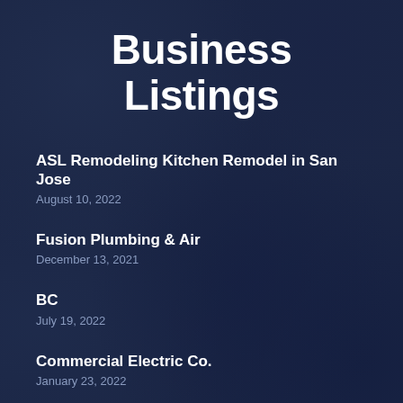Business Listings
ASL Remodeling Kitchen Remodel in San Jose
August 10, 2022
Fusion Plumbing & Air
December 13, 2021
BC
July 19, 2022
Commercial Electric Co.
January 23, 2022